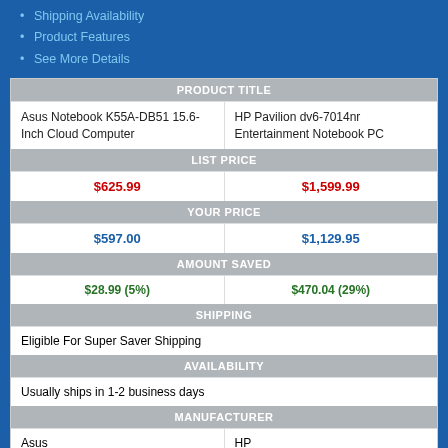Shipping Availability
Product Features
See More Details
| PRODUCT TITLE |  |
| --- | --- |
| Asus Notebook K55A-DB51 15.6-Inch Cloud Computer | HP Pavilion dv6-7014nr Entertainment Notebook PC |
| LIST PRICE |  |
| $625.99 | $1,599.99 |
| YOUR PRICE |  |
| $597.00 | $1,129.95 |
| AMOUNT SAVED |  |
| $28.99 (5%) | $470.04 (29%) |
| SHIPPING |  |
| Eligible For Super Saver Shipping |  |
| AVAILABILITY |  |
| Usually ships in 1-2 business days |  |
| MANUFACTURER |  |
| Asus | HP |
| FEATURES |  |
| Intel Core i5 3210M 2.5 GHz | Intel® CoreTM i7-3610QM |